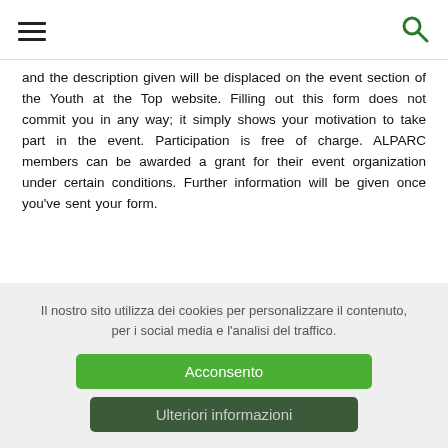[hamburger menu] [search icon]
and the description given will be displaced on the event section of the Youth at the Top website. Filling out this form does not commit you in any way; it simply shows your motivation to take part in the event. Participation is free of charge. ALPARC members can be awarded a grant for their event organization under certain conditions. Further information will be given once you've sent your form.
Il nostro sito utilizza dei cookies per personalizzare il contenuto, per i social media e l'analisi del traffico.
Acconsento
Ulteriori informazioni